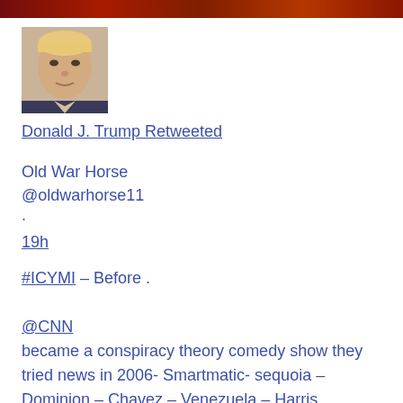[Figure (photo): Banner image strip at top of page showing a crowd scene in red/orange tones]
[Figure (photo): Profile photo of Donald J. Trump, a headshot showing him in a suit]
Donald J. Trump Retweeted
Old War Horse
@oldwarhorse11
.
19h
#ICYMI – Before . @CNN became a conspiracy theory comedy show they tried news in 2006- Smartmatic- sequoia – Dominion – Chavez – Venezuela – Harris.... Check it out #MAGA